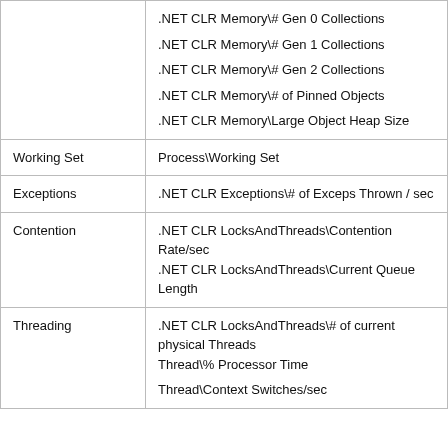| Category | Performance Counter |
| --- | --- |
|  | .NET CLR Memory\# Gen 0 Collections
.NET CLR Memory\# Gen 1 Collections
.NET CLR Memory\# Gen 2 Collections
.NET CLR Memory\# of Pinned Objects
.NET CLR Memory\Large Object Heap Size |
| Working Set | Process\Working Set |
| Exceptions | .NET CLR Exceptions\# of Exceps Thrown / sec |
| Contention | .NET CLR LocksAndThreads\Contention Rate/sec
.NET CLR LocksAndThreads\Current Queue Length |
| Threading | .NET CLR LocksAndThreads\# of current physical Threads
Thread\% Processor Time

Thread\Context Switches/sec |